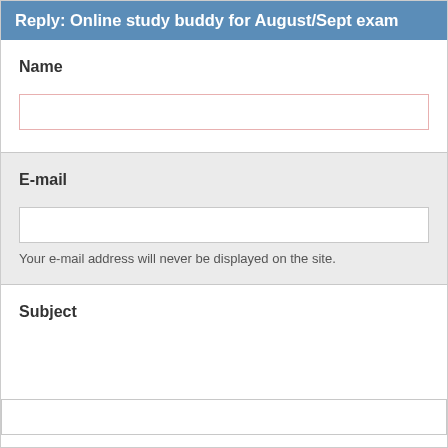Reply: Online study buddy for August/Sept exam
Name
E-mail
Your e-mail address will never be displayed on the site.
Subject